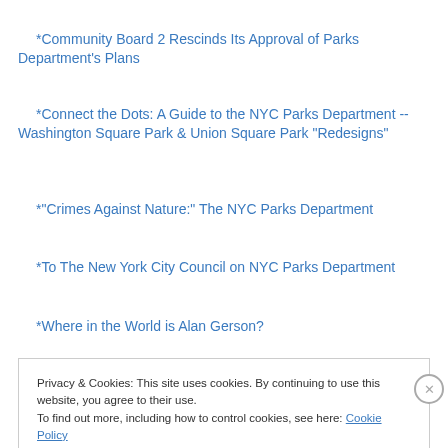*Community Board 2 Rescinds Its Approval of Parks Department's Plans
*Connect the Dots: A Guide to the NYC Parks Department -- Washington Square Park & Union Square Park "Redesigns"
*"Crimes Against Nature:" The NYC Parks Department
*To The New York City Council on NYC Parks Department
*Where in the World is Alan Gerson?
Privacy & Cookies: This site uses cookies. By continuing to use this website, you agree to their use. To find out more, including how to control cookies, see here: Cookie Policy